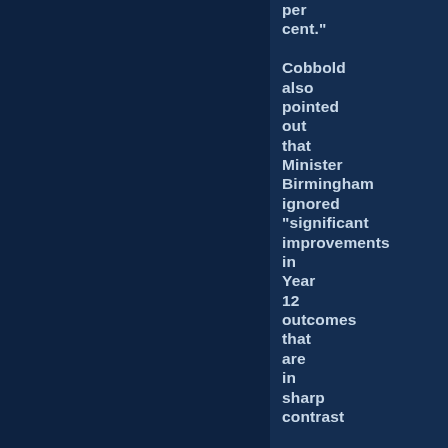per cent." Cobbold also pointed out that Minister Birmingham ignored "significant improvements in Year 12 outcomes that are in sharp contrast